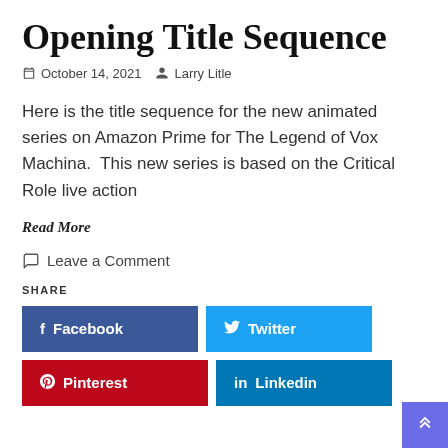Opening Title Sequence
October 14, 2021   Larry Litle
Here is the title sequence for the new animated series on Amazon Prime for The Legend of Vox Machina.  This new series is based on the Critical Role live action
Read More
Leave a Comment
SHARE
[Figure (other): Social share buttons: Facebook (blue), Twitter (light blue), Pinterest (red), Linkedin (teal)]